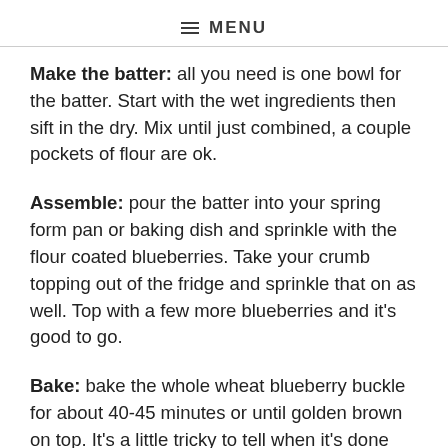≡ MENU
Make the batter: all you need is one bowl for the batter. Start with the wet ingredients then sift in the dry. Mix until just combined, a couple pockets of flour are ok.
Assemble: pour the batter into your spring form pan or baking dish and sprinkle with the flour coated blueberries. Take your crumb topping out of the fridge and sprinkle that on as well. Top with a few more blueberries and it's good to go.
Bake: bake the whole wheat blueberry buckle for about 40-45 minutes or until golden brown on top. It's a little tricky to tell when it's done because the blueberries have a lot of moisture. A cake tester may not come out clean, but the cake part itself will most